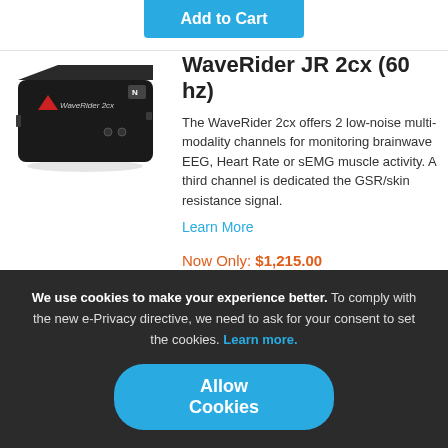Add to Cart
[Figure (photo): WaveRider 2cx device — a black rectangular electronic box with a red triangle logo and small buttons]
WaveRider JR 2cx (60 hz)
The WaveRider 2cx offers 2 low-noise multi-modality channels for monitoring brainwave EEG, Heart Rate or sEMG muscle activity. A third channel is dedicated the GSR/skin resistance signal.
Learn More
Now Only: $1,215.00
Regular Price: $1,350.00
We use cookies to make your experience better. To comply with the new e-Privacy directive, we need to ask for your consent to set the cookies. Learn more.
Allow Cookies